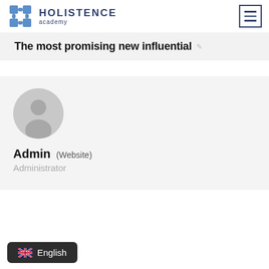[Figure (logo): Holistence Academy logo with puzzle-piece icon in blue and brand name text]
[Figure (other): Hamburger menu button (three horizontal lines) with dark blue border]
The most promising new influential
[Figure (photo): Generic user avatar circle in grey showing silhouette of a person]
Admin (Website)
Administrator
English